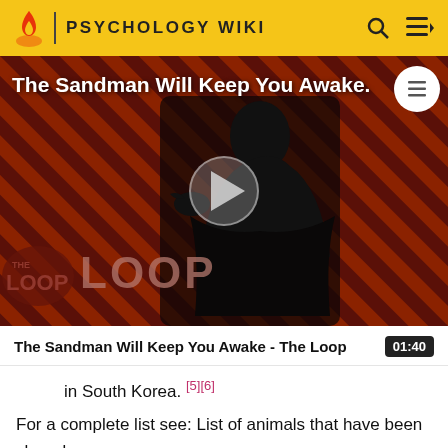PSYCHOLOGY WIKI
[Figure (screenshot): Video thumbnail showing 'The Sandman Will Keep You Awake - The Loop' with a figure in black costume against diagonal striped red/dark background, with 'THE LOOP' text overlay and a play button in center]
The Sandman Will Keep You Awake - The Loop  01:40
in South Korea. [5][6]
For a complete list see: List of animals that have been cloned.